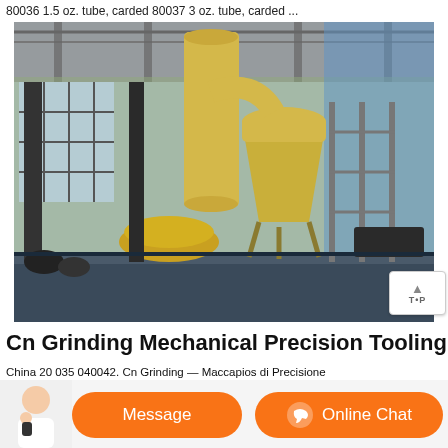80036 1.5 oz. tube, carded 80037 3 oz. tube, carded ...
[Figure (photo): Industrial grinding mill machinery inside a large factory building. A tall yellow cylindrical mill tower with pipes and a cyclone separator is visible, mounted on a platform. Factory walls have large windows letting in daylight, and hills are visible in the background.]
Cn Grinding Mechanical Precision Tooling
China 20 035 040042. Cn Grinding — Maccapios di Precisione